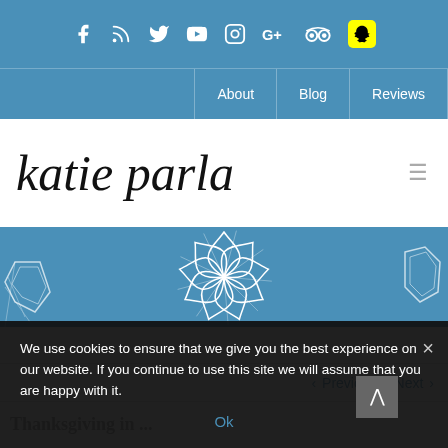Social icons bar: Facebook, RSS, Twitter, YouTube, Instagram, Google+, TripAdvisor, Snapchat
Navigation: About | Blog | Reviews
katie parla
[Figure (illustration): Decorative blue band with white botanical/leaf illustrations]
< Previous   Next >
We use cookies to ensure that we give you the best experience on our website. If you continue to use this site we will assume that you are happy with it.
Ok
Thanksgiving in...